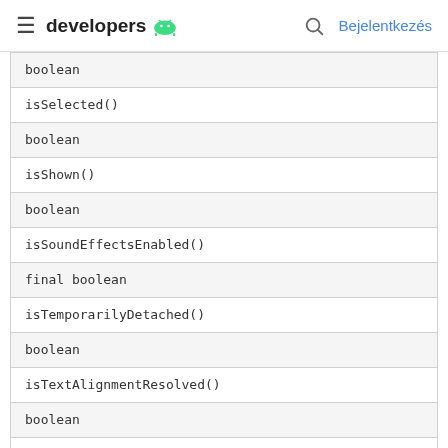developers  Bejelentkezés
| boolean |
| isSelected() |
| boolean |
| isShown() |
| boolean |
| isSoundEffectsEnabled() |
| final boolean |
| isTemporarilyDetached() |
| boolean |
| isTextAlignmentResolved() |
| boolean |
| isTextDirectionResolved() |
| boolean |
| isVerticalFadingEdgeEnabled() |